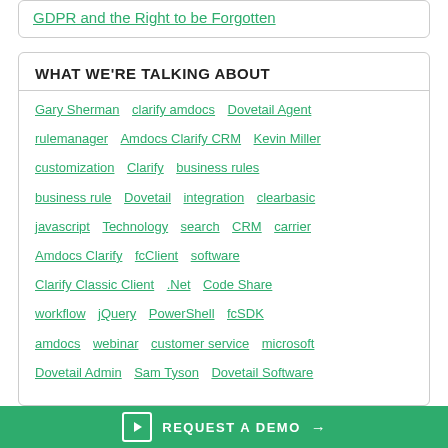GDPR and the Right to be Forgotten
WHAT WE'RE TALKING ABOUT
Gary Sherman
clarify amdocs
Dovetail Agent
rulemanager
Amdocs Clarify CRM
Kevin Miller
customization
Clarify
business rules
business rule
Dovetail
integration
clearbasic
javascript
Technology
search
CRM
carrier
Amdocs Clarify
fcClient
software
Clarify Classic Client
.Net
Code Share
workflow
jQuery
PowerShell
fcSDK
amdocs
webinar
customer service
microsoft
Dovetail Admin
Sam Tyson
Dovetail Software
REQUEST A DEMO →